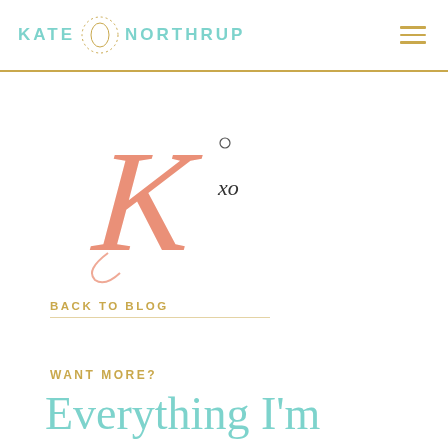KATE NORTHRUP
[Figure (logo): Kate Northrup logo with stylized K signature and 'xo' text]
BACK TO BLOG
WANT MORE?
Everything I'm